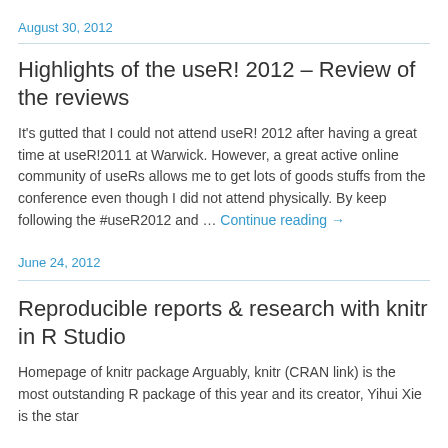August 30, 2012
Highlights of the useR! 2012 – Review of the reviews
It's gutted that I could not attend useR! 2012 after having a great time at useR!2011 at Warwick. However, a great active online community of useRs allows me to get lots of goods stuffs from the conference even though I did not attend physically. By keep following the #useR2012 and … Continue reading →
June 24, 2012
Reproducible reports & research with knitr in R Studio
Homepage of knitr package Arguably, knitr (CRAN link) is the most outstanding R package of this year and its creator, Yihui Xie is the star